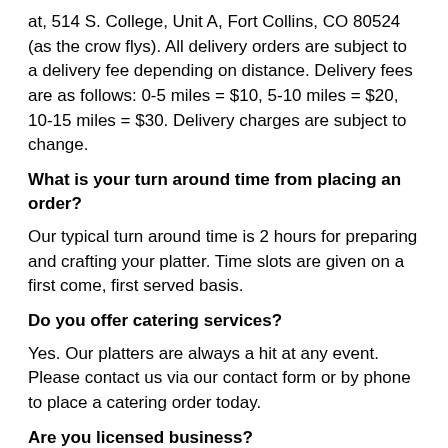at, 514 S. College, Unit A, Fort Collins, CO 80524 (as the crow flys). All delivery orders are subject to a delivery fee depending on distance. Delivery fees are as follows: 0-5 miles = $10, 5-10 miles = $20, 10-15 miles = $30. Delivery charges are subject to change.
What is your turn around time from placing an order?
Our typical turn around time is 2 hours for preparing and crafting your platter. Time slots are given on a first come, first served basis.
Do you offer catering services?
Yes. Our platters are always a hit at any event. Please contact us via our contact form or by phone to place a catering order today.
Are you licensed business?
Yes. Get Plattered is a licensed and insured business that works out of our commercial kitchen in Fort Collins, Colorado.